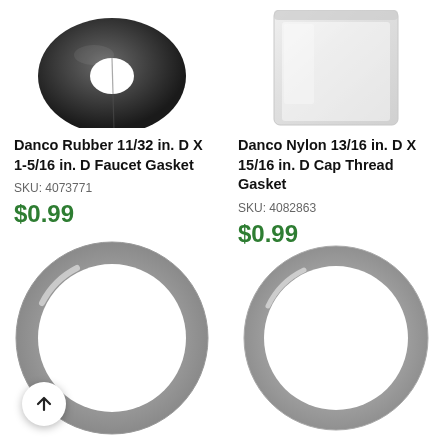[Figure (photo): Dark rubber donut/washer shaped faucet gasket, viewed from above]
[Figure (photo): Nylon cap thread gasket in a small clear plastic bag]
Danco Rubber 11/32 in. D X 1-5/16 in. D Faucet Gasket
SKU: 4073771
$0.99
Danco Nylon 13/16 in. D X 15/16 in. D Cap Thread Gasket
SKU: 4082863
$0.99
[Figure (photo): Light gray ring-shaped gasket, large circular washer viewed from above]
[Figure (photo): Light gray ring-shaped gasket, large circular washer viewed from above, slightly smaller]